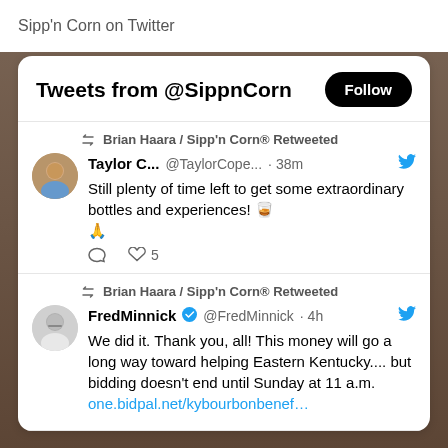Sipp'n Corn on Twitter
Tweets from @SippnCorn
Brian Haara / Sipp'n Corn® Retweeted
Taylor C... @TaylorCope... · 38m
Still plenty of time left to get some extraordinary bottles and experiences! 🥃 🙏
Brian Haara / Sipp'n Corn® Retweeted
FredMinnick ✓ @FredMinnick · 4h
We did it. Thank you, all! This money will go a long way toward helping Eastern Kentucky.... but bidding doesn't end until Sunday at 11 a.m.
one.bidpal.net/kybourbonbenef…